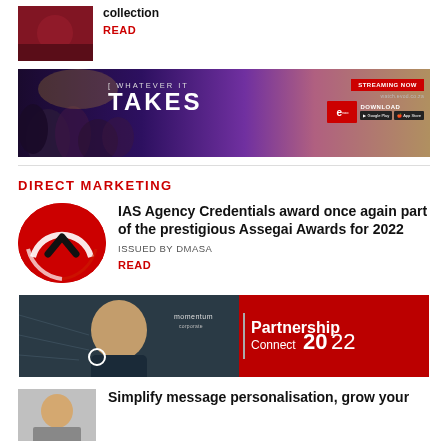[Figure (photo): Top article thumbnail - dark red/maroon colored image]
collection
READ
[Figure (illustration): Banner ad for 'Whatever It Takes' streaming show on EVOD - dark purple/red background with characters on left, large stylized text in center, streaming now button, evod logo and download buttons on right]
DIRECT MARKETING
[Figure (logo): IAS Agency logo - circular red logo with black upward chevron/arrow]
IAS Agency Credentials award once again part of the prestigious Assegai Awards for 2022
ISSUED BY DMASA
READ
[Figure (photo): Momentum Partnership Connect 2022 banner ad - dark background with woman smiling on left, red section on right with Partnership Connect 2022 text]
[Figure (photo): Bottom article thumbnail]
Simplify message personalisation, grow your